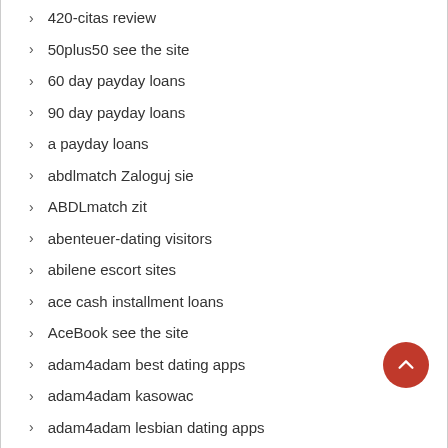420-citas review
50plus50 see the site
60 day payday loans
90 day payday loans
a payday loans
abdlmatch Zaloguj sie
ABDLmatch zit
abenteuer-dating visitors
abilene escort sites
ace cash installment loans
AceBook see the site
adam4adam best dating apps
adam4adam kasowac
adam4adam lesbian dating apps
adam4adam review